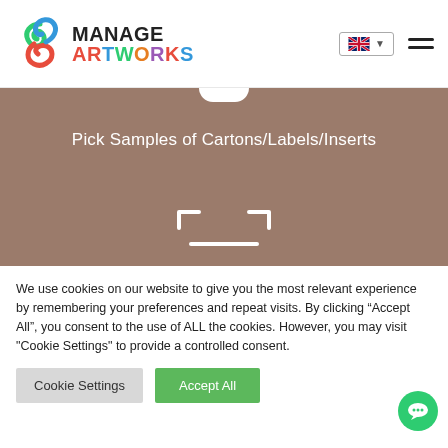[Figure (logo): Manage Artworks logo with colorful swirl icon and multicolor ARTWORKS text]
Pick Samples of Cartons/Labels/Inserts
We use cookies on our website to give you the most relevant experience by remembering your preferences and repeat visits. By clicking “Accept All”, you consent to the use of ALL the cookies. However, you may visit "Cookie Settings" to provide a controlled consent.